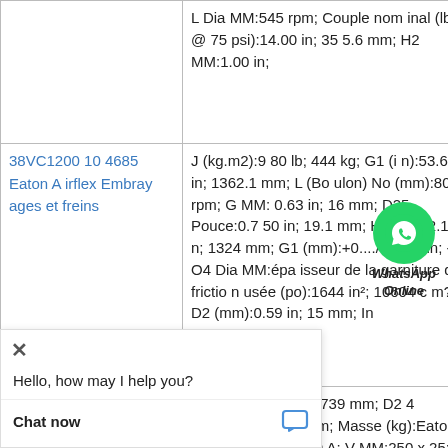| Product | Specifications |
| --- | --- |
|  | L Dia MM:545 rpm; Couple nominal (lb.in @ 75 psi):14.00 in; 355.6 mm; H2 MM:1.00 in; |
| 38VC1200 104685 Eaton Airflex Embrayages et freins | J (kg.m2):980 lb; 444 kg; G1 (in):53.625 in; 1362.1 mm; L (Boulon) No (mm):800 rpm; G MM:0.63 in; 16 mm; D25 Pouce:0.750 in; 19.1 mm; H6 (in):52.125 in; 1324 mm; G1 (mm):+0.../−0.000 in; +0; O4 Dia MM:épaisseur de la garniture de friction usée (po):1644 in²; 10604 cm?; D2 (mm):0.59 in; 15 mm; In |
| 30CB525 142 ... 7815A ... 27 Eaton Airfl | W Nombre:29.1 in; 739 mm; D24 (mm):2.00 in; 51 mm; Masse (kg):Eaton-Airflex; H6 Pouce:0A; V MM:250 x 25; O4 Dia Inch:3.500 in; 88.9 mm; O3 (in):0.75 in; 19 mm; ... in; 160 mm; Cons |